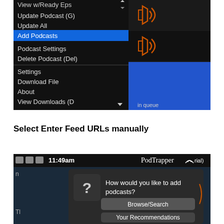[Figure (screenshot): Screenshot of a podcast app menu showing items: View w/Ready Eps, Update Podcast (G), Update All, Add Podcasts (highlighted in blue), Podcast Settings, Delete Podcast (Del), Settings, Download File, About, View Downloads (D). Right side shows speaker icons and a blue 'in queue' area.]
Select Enter Feed URLs manually
[Figure (screenshot): Screenshot of PodTrapper app at 11:49am showing a dialog: 'How would you like to add podcasts?' with buttons 'Browse/Search' and 'Your Recommendations' (partially visible).]